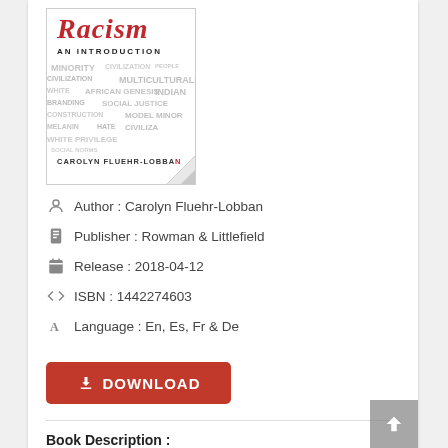[Figure (illustration): Book cover of 'Race and Racism: An Introduction' by Carolyn Fluehr-Lobban. The cover shows the title 'Racism' in large red italic font over a word cloud of related terms in grey on white background, with author name at bottom.]
Author : Carolyn Fluehr-Lobban
Publisher : Rowman & Littlefield
Release : 2018-04-12
ISBN : 1442274603
Language : En, Es, Fr & De
Book Description :
Race and Racism examines the foundations of race in American society from an anthropological perspective. The book offers and accessible overview of a variety of